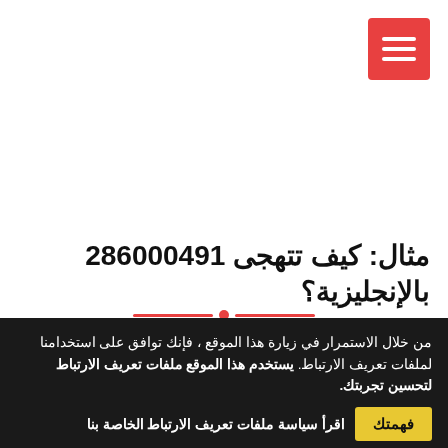[Figure (other): Red hamburger/menu icon button in the top right corner with three white horizontal lines on red background]
مثال: كيف تتهجى 286000491 بالإنجليزية؟
من خلال الاستمرار في زيارة هذا الموقع ، فإنك توافق على استخدامنا لملفات تعريف الارتباط. يستخدم هذا الموقع ملفات تعريف الارتباط لتحسين تجربتك.
اقرأ سياسة ملفات تعريف الارتباط الخاصة بنا فهمتك